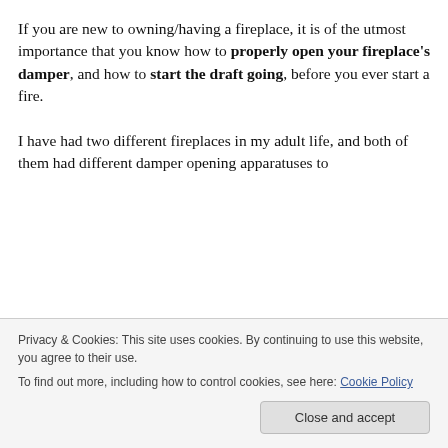If you are new to owning/having a fireplace, it is of the utmost importance that you know how to properly open your fireplace's damper, and how to start the draft going, before you ever start a fire.
I have had two different fireplaces in my adult life, and both of them had different damper opening apparatuses to...
Privacy & Cookies: This site uses cookies. By continuing to use this website, you agree to their use.
To find out more, including how to control cookies, see here: Cookie Policy
going. Don't just listen to their instructions over the phone,